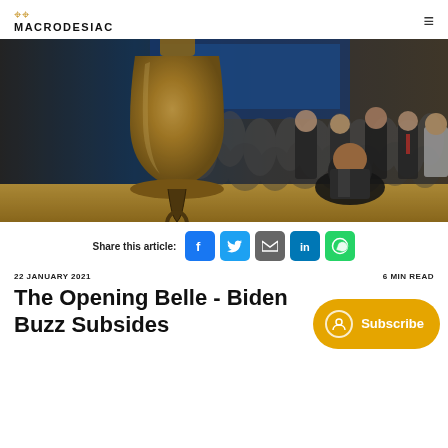MACRODESIAC
[Figure (photo): A large brass trading bell in the foreground with a blurred crowd of businesspeople in suits in the background at what appears to be a stock exchange floor.]
Share this article:
The Opening Belle - Biden Buzz Subsides
22 JANUARY 2021
6 MIN READ